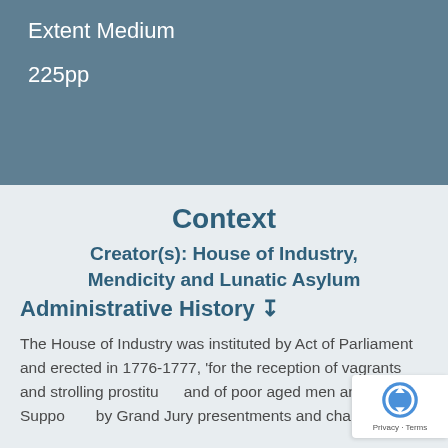Extent Medium
225pp
Context
Creator(s): House of Industry, Mendicity and Lunatic Asylum
Administrative History ↧
The House of Industry was instituted by Act of Parliament and erected in 1776-1777, 'for the reception of vagrants and strolling prostitutes and of poor aged men and women'. Supported by Grand Jury presentments and charitable